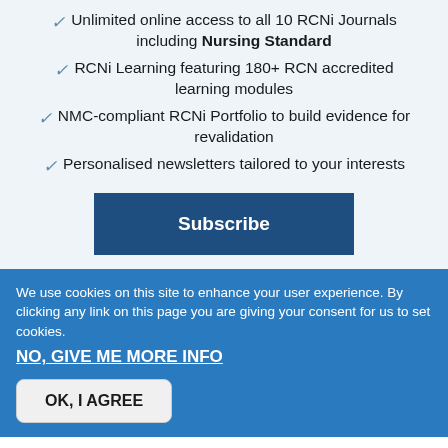Unlimited online access to all 10 RCNi Journals including Nursing Standard
RCNi Learning featuring 180+ RCN accredited learning modules
NMC-compliant RCNi Portfolio to build evidence for revalidation
Personalised newsletters tailored to your interests
Subscribe
We use cookies on this site to enhance your user experience. By clicking any link on this page you are giving your consent for us to set cookies.
NO, GIVE ME MORE INFO
OK, I AGREE